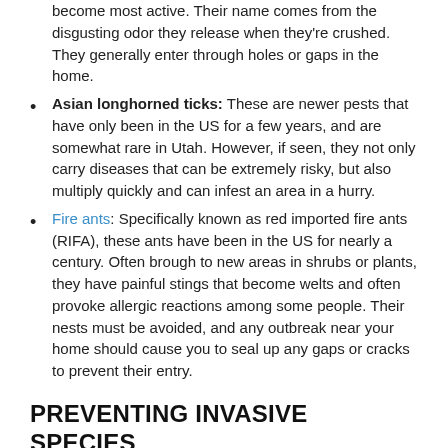become most active. Their name comes from the disgusting odor they release when they're crushed. They generally enter through holes or gaps in the home.
Asian longhorned ticks: These are newer pests that have only been in the US for a few years, and are somewhat rare in Utah. However, if seen, they not only carry diseases that can be extremely risky, but also multiply quickly and can infest an area in a hurry.
Fire ants: Specifically known as red imported fire ants (RIFA), these ants have been in the US for nearly a century. Often brough to new areas in shrubs or plants, they have painful stings that become welts and often provoke allergic reactions among some people. Their nests must be avoided, and any outbreak near your home should cause you to seal up any gaps or cracks to prevent their entry.
PREVENTING INVASIVE SPECIES
While extermination of a given invasive pest will vary depending on what species it is, there are some fairly